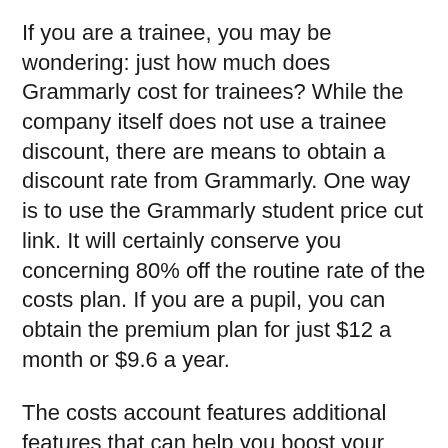If you are a trainee, you may be wondering: just how much does Grammarly cost for trainees? While the company itself does not use a trainee discount, there are means to obtain a discount rate from Grammarly. One way is to use the Grammarly student price cut link. It will certainly conserve you concerning 80% off the routine rate of the costs plan. If you are a pupil, you can obtain the premium plan for just $12 a month or $9.6 a year.
The costs account features additional features that can help you boost your writing. It handles passive voice and also citations as well as offers suggestions on correct usage of these 2 words. You can additionally add on vocabulary and make use